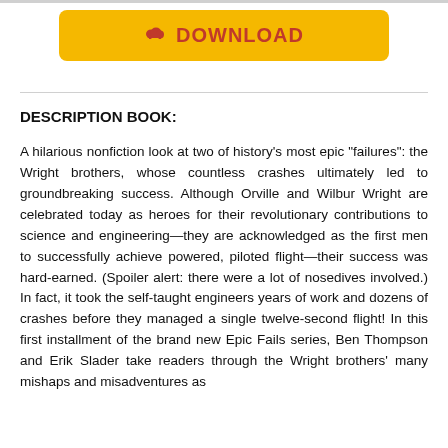[Figure (other): Yellow download button with cloud/download icon and text 'DOWNLOAD' in dark red, on a yellow rounded rectangle background]
DESCRIPTION BOOK:
A hilarious nonfiction look at two of history's most epic "failures": the Wright brothers, whose countless crashes ultimately led to groundbreaking success. Although Orville and Wilbur Wright are celebrated today as heroes for their revolutionary contributions to science and engineering—they are acknowledged as the first men to successfully achieve powered, piloted flight—their success was hard-earned. (Spoiler alert: there were a lot of nosedives involved.) In fact, it took the self-taught engineers years of work and dozens of crashes before they managed a single twelve-second flight! In this first installment of the brand new Epic Fails series, Ben Thompson and Erik Slader take readers through the Wright brothers' many mishaps and misadventures as